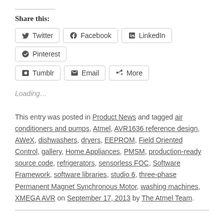Share this:
[Figure (other): Social share buttons: Twitter, Facebook, LinkedIn, Pinterest, Tumblr, Email, More]
Loading...
This entry was posted in Product News and tagged air conditioners and pumps, Atmel, AVR1636 reference design, AWeX, dishwashers, dryers, EEPROM, Field Oriented Control, gallery, Home Appliances, PMSM, production-ready source code, refrigerators, sensorless FOC, Software Framework, software libraries, studio 6, three-phase Permanent Magnet Synchronous Motor, washing machines, XMEGA AVR on September 17, 2013 by The Atmel Team.